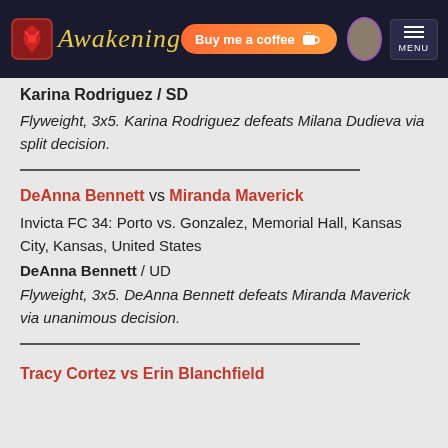Awakening | Buy me a coffee | MENU
Karina Rodriguez / SD
Flyweight, 3x5. Karina Rodriguez defeats Milana Dudieva via split decision.
DeAnna Bennett vs Miranda Maverick
Invicta FC 34: Porto vs. Gonzalez, Memorial Hall, Kansas City, Kansas, United States
DeAnna Bennett / UD
Flyweight, 3x5. DeAnna Bennett defeats Miranda Maverick via unanimous decision.
Tracy Cortez vs Erin Blanchfield